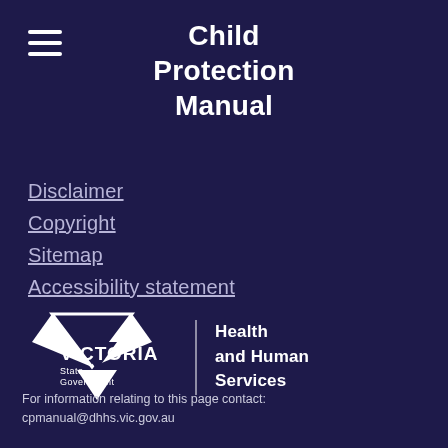Child Protection Manual
Disclaimer
Copyright
Sitemap
Accessibility statement
[Figure (logo): Victoria State Government - Health and Human Services logo with white triangle V shape and department text]
For information relating to this page contact: cpmanual@dhhs.vic.gov.au
Authorised by: Assistant Director Child Protection, Statutory and Forensic Design Branch